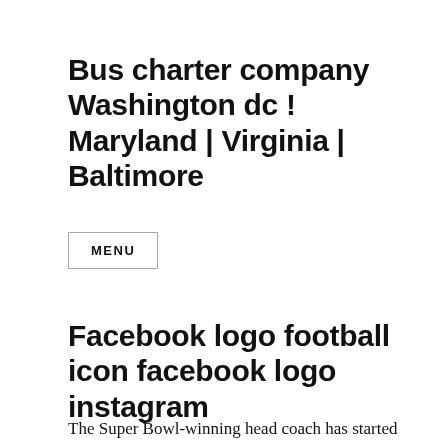Bus charter company Washington dc ! Maryland | Virginia | Baltimore
MENU
Facebook logo football icon facebook logo instagram
The Super Bowl-winning head coach has started to utilize tempo to jump-start the